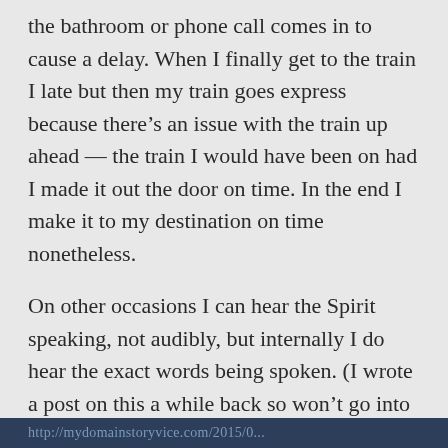the bathroom or phone call comes in to cause a delay. When I finally get to the train I late but then my train goes express because there's an issue with the train up ahead — the train I would have been on had I made it out the door on time. In the end I make it to my destination on time nonetheless.
On other occasions I can hear the Spirit speaking, not audibly, but internally I do hear the exact words being spoken. (I wrote a post on this a while back so won't go into much detail here. But here's the link
http://mydomainstoryvice.com/2015/0...